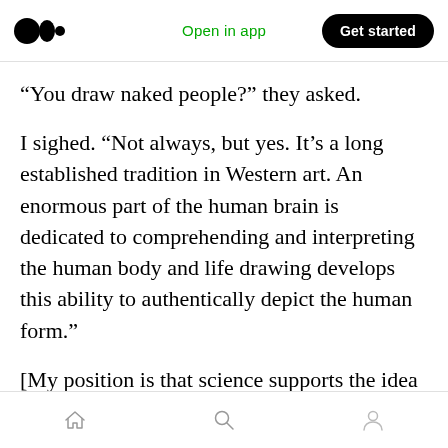Open in app  Get started
“You draw naked people?” they asked.
I sighed. “Not always, but yes. It’s a long established tradition in Western art. An enormous part of the human brain is dedicated to comprehending and interpreting the human body and life drawing develops this ability to authentically depict the human form.”
[My position is that science supports the idea that ‘the human condition’ is by nature the most riveting and important reality one can represent
home  search  profile